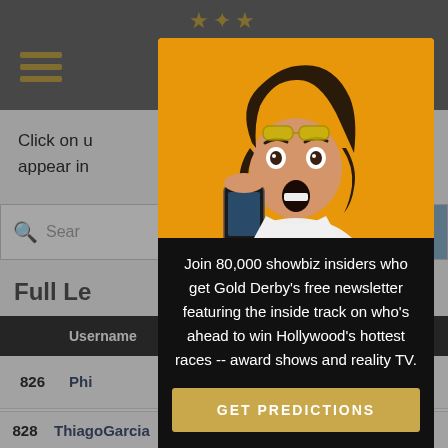[Figure (screenshot): Screenshot of a website (Gold Derby) with a modal popup overlay. The background shows a navigation bar with hamburger menu, a search bar, and a leaderboard table with usernames and points. A modal dialog covers the center-right of the page with an image of a surprised woman looking at her phone on an orange background, newsletter signup text, a gold 'GET PREDICTIONS' button, and 'No thanks' link.]
Click on u... edictions appear in...
Full Le...
| Username | Pts Won |
| --- | --- |
| 826 | Phi... | 760 |
| 827 | Dvi... | 1683 |
| 828 | ThiagoGarcia | 2/4 | 50.00% | 863 |
Join 80,000 showbiz insiders who get Gold Derby's free newsletter featuring the inside track on who's ahead to win Hollywood's hottest races -- award shows and reality TV.
GET PREDICTIONS
No thanks